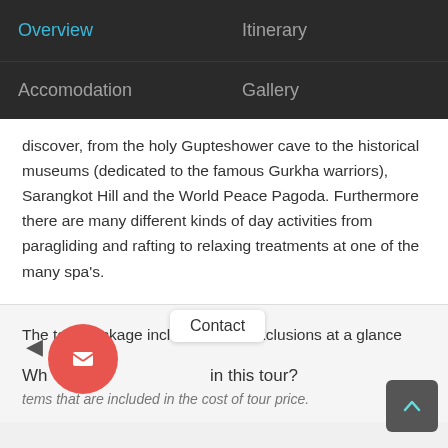Overview | Itinerary
Accomodation | Gallery
discover, from the holy Gupteshower cave to the historical museums (dedicated to the famous Gurkha warriors), Sarangkot Hill and the World Peace Pagoda. Furthermore there are many different kinds of day activities from paragliding and rafting to relaxing treatments at one of the many spa's.
The tour package inclusions and exclusions at a glance
Wh in this tour?
tems that are included in the cost of tour price.